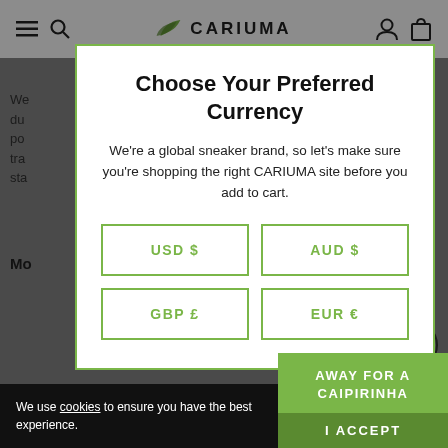[Figure (screenshot): CARIUMA website navigation bar with hamburger menu, search icon, logo, user icon, and cart icon]
Choose Your Preferred Currency
We're a global sneaker brand, so let's make sure you're shopping the right CARIUMA site before you add to cart.
USD $
AUD $
GBP £
EUR €
We use cookies to ensure you have the best experience.
AWAY FOR A CAIPIRINHA
I ACCEPT